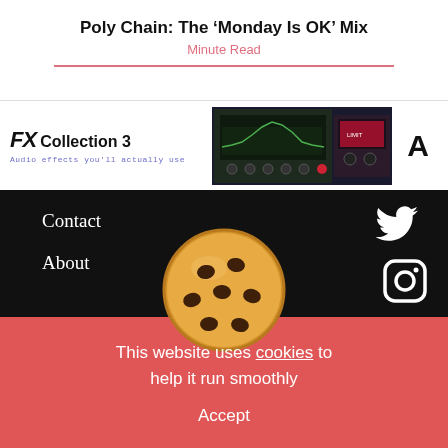Poly Chain: The ‘Monday Is OK’ Mix
Minute Read
[Figure (screenshot): Advertisement banner for FX Collection 3 - Audio effects plugin with dark UI showing equalizer/mixer interface and Arturia logo]
Contact
About
[Figure (illustration): Cookie emoji / chocolate chip cookie illustration used for cookie consent notice]
This website uses cookies to help it run smoothly
Accept